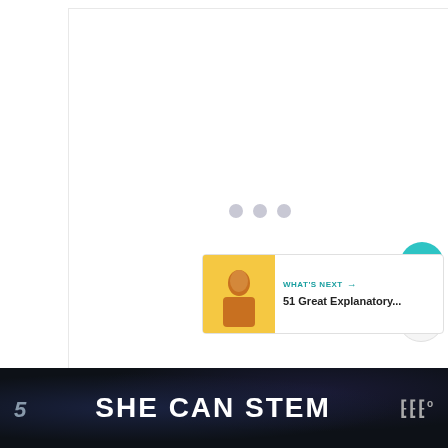[Figure (screenshot): White content area with three loading indicator dots in the center, a teal heart/favorite button and a share button on the right side, and a 'What's Next' card showing '51 Great Explanatory...' with a thumbnail]
5 SHE CAN STEM